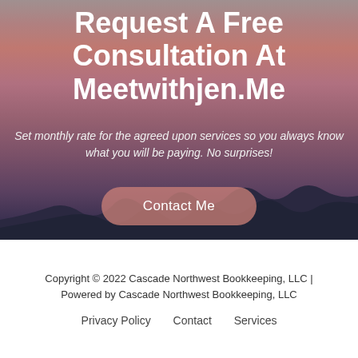Request A Free Consultation At Meetwithjen.Me
Set monthly rate for the agreed upon services so you always know what you will be paying. No surprises!
Contact Me
Copyright © 2022 Cascade Northwest Bookkeeping, LLC | Powered by Cascade Northwest Bookkeeping, LLC
Privacy Policy   Contact   Services